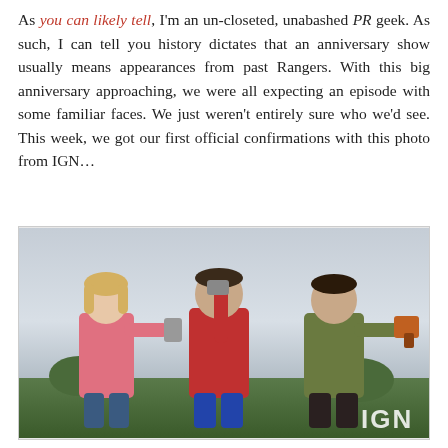As you can likely tell, I'm an un-closeted, unabashed PR geek. As such, I can tell you history dictates that an anniversary show usually means appearances from past Rangers. With this big anniversary approaching, we were all expecting an episode with some familiar faces. We just weren't entirely sure who we'd see. This week, we got our first official confirmations with this photo from IGN...
[Figure (photo): Three people posing outdoors against a cloudy sky background. A blonde woman in a pink hoodie on the left holds a device toward the camera. A man in a red sweater in the center holds a device. A man in an olive jacket on the right holds a device. IGN watermark visible in the bottom right corner.]